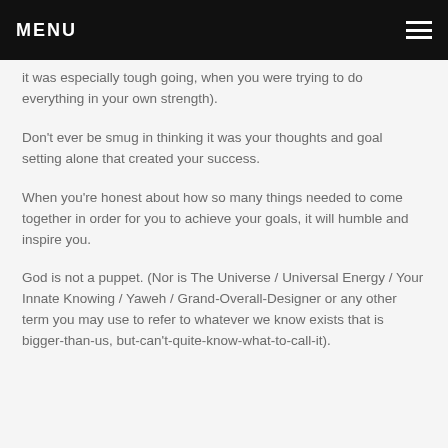MENU
it was especially tough going, when you were trying to do everything in your own strength).
Don't ever be smug in thinking it was your thoughts and goal setting alone that created your success.
When you're honest about how so many things needed to come together in order for you to achieve your goals, it will humble and inspire you.
God is not a puppet. (Nor is The Universe / Universal Energy / Your Innate Knowing / Yaweh / Grand-Overall-Designer or any other term you may use to refer to whatever we know exists that is bigger-than-us, but-can't-quite-know-what-to-call-it).